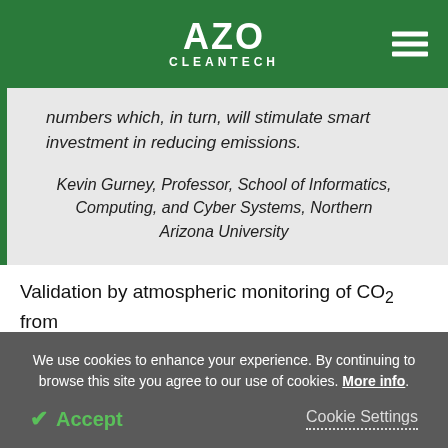AZO CLEANTECH
numbers which, in turn, will stimulate smart investment in reducing emissions.
Kevin Gurney, Professor, School of Informatics, Computing, and Cyber Systems, Northern Arizona University
Validation by atmospheric monitoring of CO₂ from satellite and ground-based data represents one of the...
We use cookies to enhance your experience. By continuing to browse this site you agree to our use of cookies. More info.
Accept
Cookie Settings